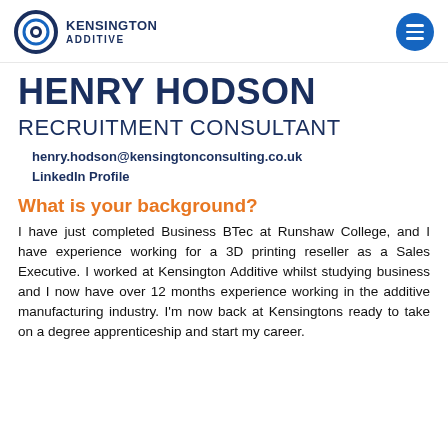[Figure (logo): Kensington Additive logo with circular eye icon and company name]
HENRY HODSON
RECRUITMENT CONSULTANT
henry.hodson@kensingtonconsulting.co.uk
LinkedIn Profile
What is your background?
I have just completed Business BTec at Runshaw College, and I have experience working for a 3D printing reseller as a Sales Executive. I worked at Kensington Additive whilst studying business and I now have over 12 months experience working in the additive manufacturing industry. I'm now back at Kensingtons ready to take on a degree apprenticeship and start my career.